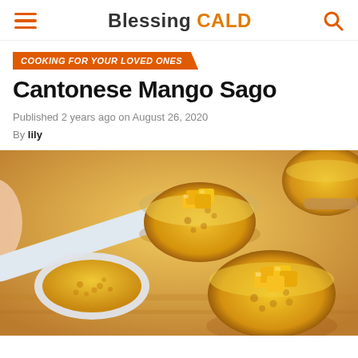Blessing CALD
COOKING FOR YOUR LOVED ONES
Cantonese Mango Sago
Published 2 years ago on August 26, 2020
By lily
[Figure (photo): Bowls of Cantonese mango sago dessert with mango cubes on top, and a spoon scooping the yellow sago pudding, on a wooden surface]